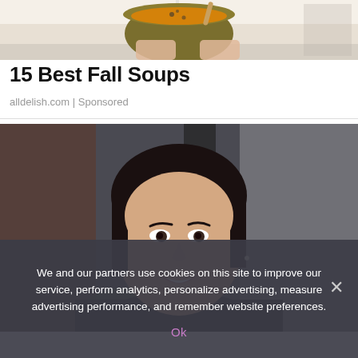[Figure (photo): Person holding a bowl of orange soup, partially cropped at the top of the page]
15 Best Fall Soups
alldelish.com | Sponsored
[Figure (photo): Portrait of a smiling young woman with dark hair pulled back, photographed indoors]
We and our partners use cookies on this site to improve our service, perform analytics, personalize advertising, measure advertising performance, and remember website preferences.
Ok